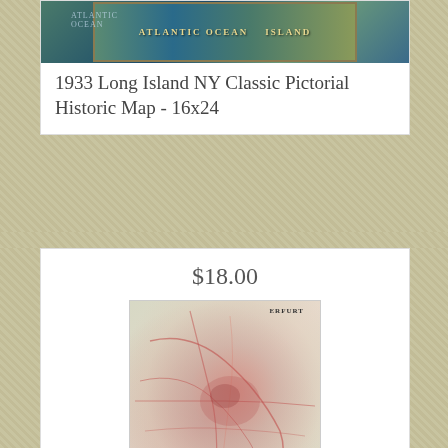[Figure (map): 1933 Long Island NY Classic Pictorial Historic Map image showing Atlantic Ocean label and decorative cartographic styling]
1933 Long Island NY Classic Pictorial Historic Map - 16x24
$18.00
[Figure (map): 1930 Erfurt German map showing city streets, roads, railroads, parks and surrounding region in pink/red tones]
1930 Erfurt German Map Thuringia Monastery Parks Railroads Museums Synagogue